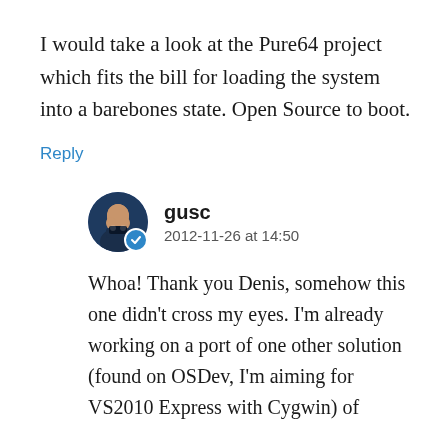I would take a look at the Pure64 project which fits the bill for loading the system into a barebones state. Open Source to boot.
Reply
gusc
2012-11-26 at 14:50
Whoa! Thank you Denis, somehow this one didn't cross my eyes. I'm already working on a port of one other solution (found on OSDev, I'm aiming for VS2010 Express with Cygwin) of